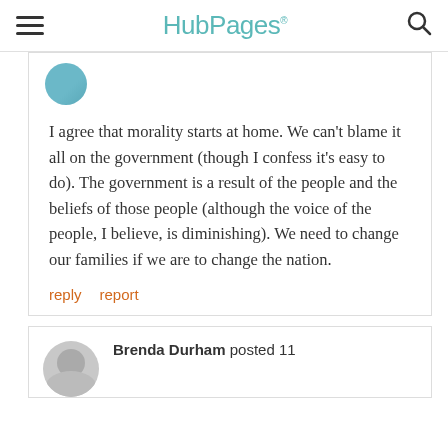HubPages
I agree that morality starts at home. We can't blame it all on the government (though I confess it's easy to do). The government is a result of the people and the beliefs of those people (although the voice of the people, I believe, is diminishing). We need to change our families if we are to change the nation.
reply   report
Brenda Durham posted 11